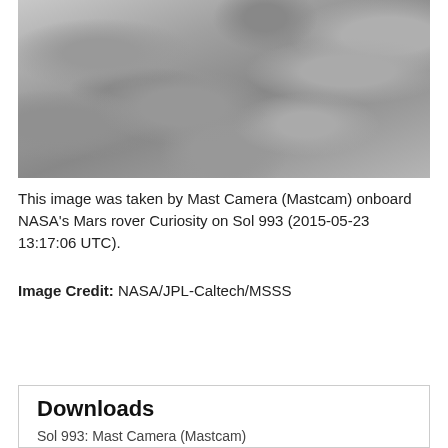[Figure (photo): Grayscale image of rocky Martian surface taken by Mastcam onboard NASA's Curiosity rover on Sol 993]
This image was taken by Mast Camera (Mastcam) onboard NASA's Mars rover Curiosity on Sol 993 (2015-05-23 13:17:06 UTC).
Image Credit: NASA/JPL-Caltech/MSSS
ENLARGE
Downloads
Sol 993: Mast Camera (Mastcam)